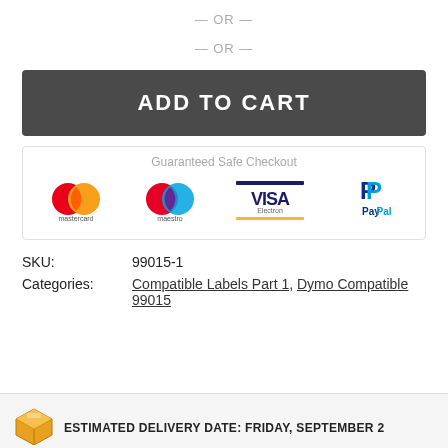— OR —
— OR —
ADD TO CART
Guaranteed Safe Checkout
[Figure (logo): Mastercard logo]
[Figure (logo): Maestro logo]
[Figure (logo): VISA Electron logo]
[Figure (logo): PayPal logo]
SKU: 99015-1
Categories: Compatible Labels Part 1, Dymo Compatible 99015
ESTIMATED DELIVERY DATE: FRIDAY, SEPTEMBER 2